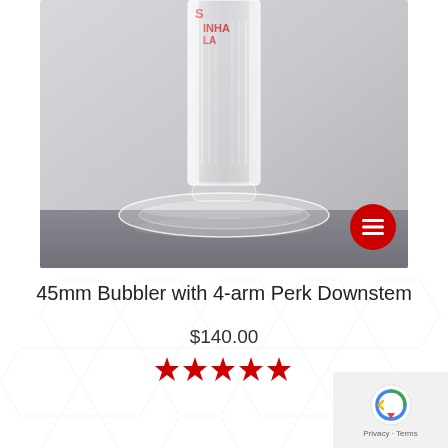[Figure (photo): Product photo of a 45mm glass bubbler with 4-arm perk downstem, clear borosilicate glass with a wide flat base and cylindrical neck showing internal percolator arms, set against a light gray background. Red brand logo text partially visible at top.]
45mm Bubbler with 4-arm Perk Downstem
$140.00
[Figure (other): Five red star rating icons]